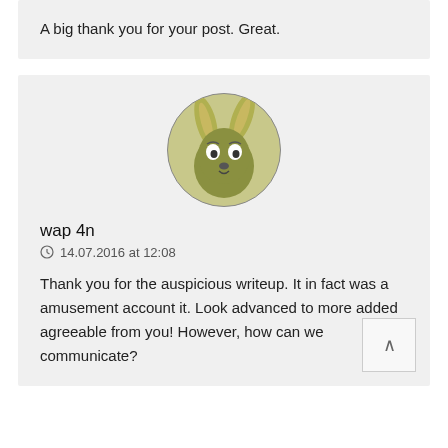A big thank you for your post. Great.
[Figure (illustration): Circular avatar image of a cartoon rabbit/bunny character with olive-green coloring, large ears, and expressive eyes]
wap 4n
14.07.2016 at 12:08
Thank you for the auspicious writeup. It in fact was a amusement account it. Look advanced to more added agreeable from you! However, how can we communicate?